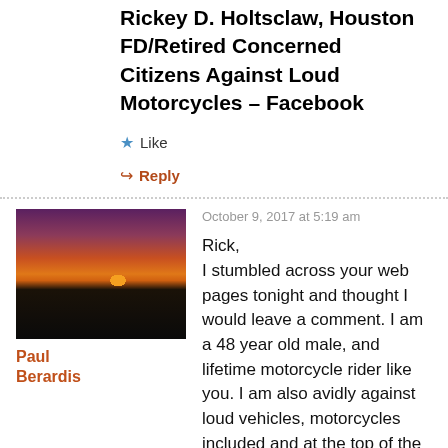Rickey D. Holtsclaw, Houston FD/Retired Concerned Citizens Against Loud Motorcycles – Facebook
★ Like
↪ Reply
October 9, 2017 at 5:19 am
Paul Berardis
Rick,
I stumbled across your web pages tonight and thought I would leave a comment. I am a 48 year old male, and lifetime motorcycle rider like you. I am also avidly against loud vehicles, motorcycles included and at the top of the list. Your observations seem spot on about the narcissistic culture and it's